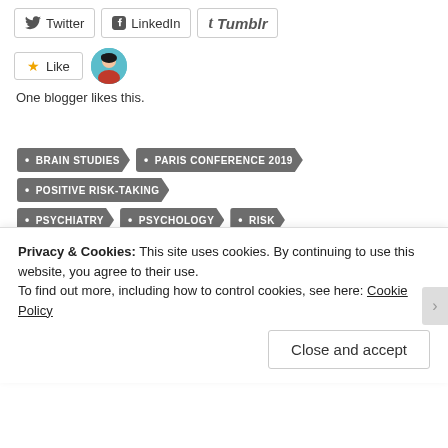[Figure (other): Social share buttons: Twitter, LinkedIn, Tumblr]
[Figure (other): Like button with star icon and blogger avatar]
One blogger likes this.
BRAIN STUDIES
PARIS CONFERENCE 2019
POSITIVE RISK-TAKING
PSYCHIATRY
PSYCHOLOGY
RISK
RISK DECISION-MAKING
RISK DECISIONS
Privacy & Cookies: This site uses cookies. By continuing to use this website, you agree to their use.
To find out more, including how to control cookies, see here: Cookie Policy
Close and accept